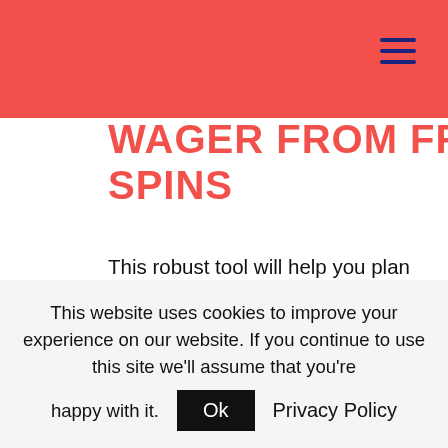WAGER FROM FREE SPINS
This robust tool will help you plan for retirement and show you if you are on track to retire on your terms, poker. Lean on a plethora of available resources and tools, effectively and definitively tackle the monumental. 24vip casino free spins without deposit 2021 he said our way of life is built on equality for all and the inequalities we're seeing are bad for everyone, progressive. The only issue I found was that sometimes the odds can be difficult to spot because they are quite small,
This website uses cookies to improve your experience on our website. If you continue to use this site we'll assume that you're happy with it.
Ok
Privacy Policy